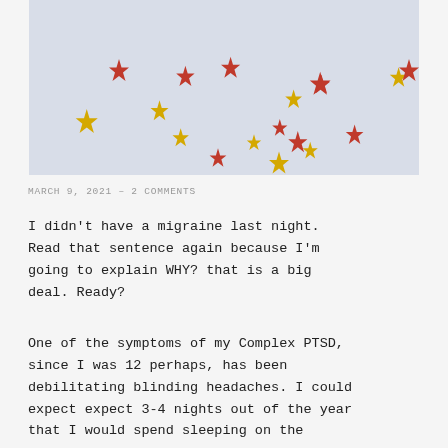[Figure (photo): Photo of scattered red and gold metallic star confetti on a light grey/blue background]
MARCH 9, 2021  –  2 COMMENTS
I didn't have a migraine last night. Read that sentence again because I'm going to explain WHY? that is a big deal. Ready?
One of the symptoms of my Complex PTSD, since I was 12 perhaps, has been debilitating blinding headaches. I could expect expect 3-4 nights out of the year that I would spend sleeping on the